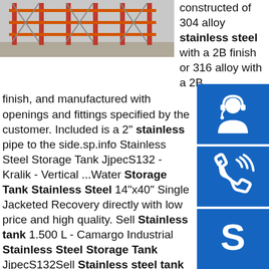[Figure (photo): Photo of industrial stainless steel storage tanks/shelving structure in a warehouse]
constructed of 304 alloy stainless steel with a 2B finish or 316 alloy with a 2B finish, and manufactured with openings and fittings specified by the customer. Included is a 2" stainless pipe to the side.sp.info Stainless Steel Storage Tank JjpecS132 - Kralik - Vertical ...Water Storage Tank Stainless Steel 14"x40" Single Jacketed Recovery directly with low price and high quality. Sell Stainless tank 1.500 L - Camargo Industrial Stainless Steel Storage Tank JjpecS132Sell Stainless steel tank storage and agitation. For …sp.info stainless steel tank jjpec s122 - TUI Largest ...Background Report Reference are supplying Water Treatment Pressure Tank Product Name Water Treatment Pressure Tank Model NO.JJPEC-S014 Condition New Pressure Level Low Pressure (0.1MPap<1.6MPa) Storage Medium Organic Feed /N2 Pressure -0.1~0.69 Material Carbon Steel Application Industrial Function Storage Pressure Vessel
[Figure (illustration): Blue icon with headset/customer support symbol]
[Figure (illustration): Blue icon with telephone/call symbol]
[Figure (illustration): Blue icon with Skype symbol]